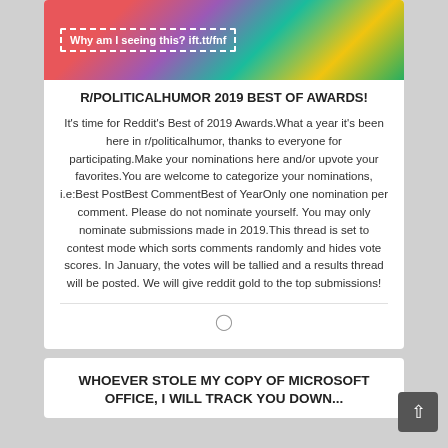[Figure (illustration): Colorful banner image with text 'Why am I seeing this? ift.tt/fnf' in white with a dashed white rectangle border, on a multi-colored background with circles in red, purple, teal, yellow, and green.]
R/POLITICALHUMOR 2019 BEST OF AWARDS!
It's time for Reddit's Best of 2019 Awards.What a year it's been here in r/politicalhumor, thanks to everyone for participating.Make your nominations here and/or upvote your favorites.You are welcome to categorize your nominations, i.e:Best PostBest CommentBest of YearOnly one nomination per comment. Please do not nominate yourself. You may only nominate submissions made in 2019.This thread is set to contest mode which sorts comments randomly and hides vote scores. In January, the votes will be tallied and a results thread will be posted. We will give reddit gold to the top submissions!
WHOEVER STOLE MY COPY OF MICROSOFT OFFICE, I WILL TRACK YOU DOWN...